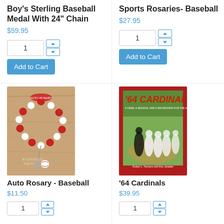Boy's Sterling Baseball Medal With 24" Chain
$59.95
Sports Rosaries- Baseball
$27.95
[Figure (photo): Auto Rosary - Baseball: red and white bead rosary bracelet with cross and baseball charm on wooden background]
Auto Rosary - Baseball
$11.50
[Figure (photo): '64 Cardinals book cover with red border showing baseball players on field]
'64 Cardinals
$39.95